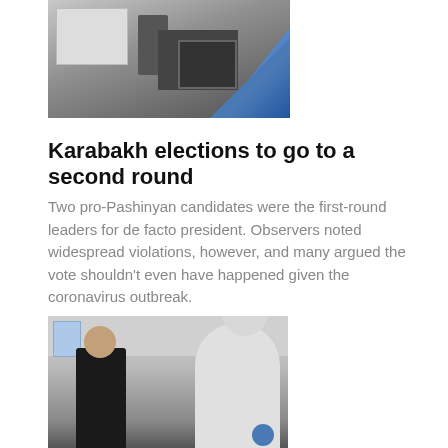[Figure (photo): Photo of a person holding a ballot box at a polling station, with a blue diagonal element in the corner]
Karabakh elections to go to a second round
Two pro-Pashinyan candidates were the first-round leaders for de facto president. Observers noted widespread violations, however, and many argued the vote shouldn't even have happened given the coronavirus outbreak.
Joshua Kucera Apr 1, 2020
[Figure (photo): Photo of a person in a white hazmat/protective suit taking the temperature of a man in a black jacket, with a blue notice on the wall behind them]